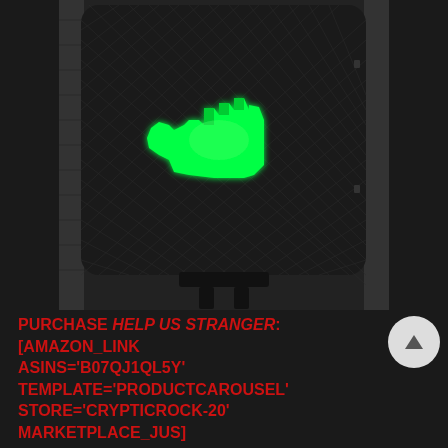[Figure (photo): Black and white photo of a pedestrian walk signal box mounted on a pole against a brick wall. The signal displays a bright green glowing hand/walk symbol made of diamond-shaped LED pixels on a dark mesh grid background.]
PURCHASE HELP US STRANGER: [AMAZON_LINK ASINS='B07QJ1QL5Y' TEMPLATE='PRODUCTCAROUSEL' STORE='CRYPTICROCK-20' MARKETPLACE_JUS]